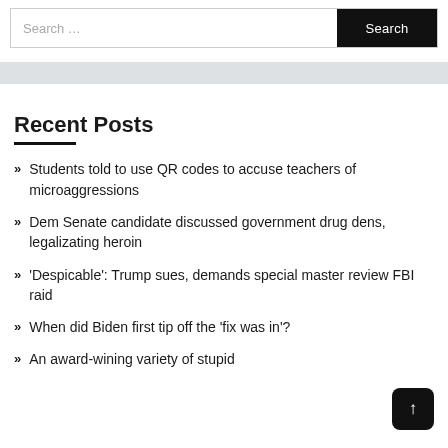Search ...  Search
Recent Posts
Students told to use QR codes to accuse teachers of microaggressions
Dem Senate candidate discussed government drug dens, legalizating heroin
'Despicable': Trump sues, demands special master review FBI raid
When did Biden first tip off the 'fix was in'?
An award-wining variety of stupid